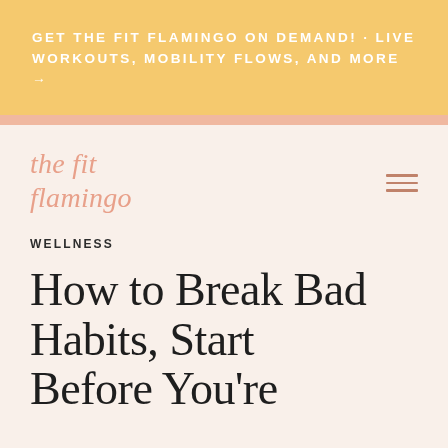GET THE FIT FLAMINGO ON DEMAND! · LIVE WORKOUTS, MOBILITY FLOWS, AND MORE →
the fit flamingo
WELLNESS
How to Break Bad Habits, Start Before You're